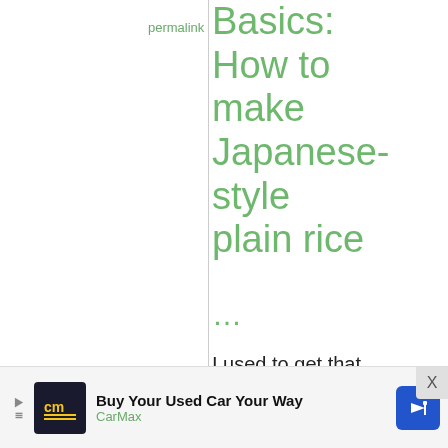permalink
Japanese Basics: How to make Japanese-style plain rice
...
I used to get that too but since going through the
[Figure (infographic): Advertisement banner for CarMax: 'Buy Your Used Car Your Way' with CarMax logo and navigation icon]